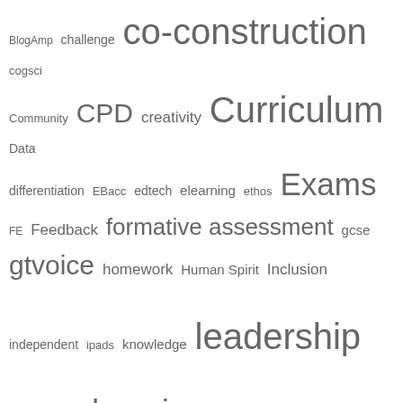[Figure (other): Tag cloud featuring education-related terms of varying font sizes indicating frequency/popularity. Terms include: BlogAmp, challenge, co-construction, cogsci, Community, CPD, creativity, Curriculum, Data, differentiation, EBacc, edtech, elearning, ethos, Exams, FE, Feedback, formative assessment, gcse, gtvoice, homework, Human Spirit, Inclusion, independent, ipads, knowledge, leadership, league tables, learning, Lesson Study, literacy, marking, mathchat, maths, memory, mindset, OfQual, OfSTED, parents, pedagogy, physics, planning, practice, Primary, problem solving, PRP, questioning, relationships, Research, researchEd, rhetoric, Rosenshine, science, SEN, skateboarding, SLT, SRE, student voice, success, teaching, teach to the top, textbook, Trivium, twitter, Vision, workload, writing]